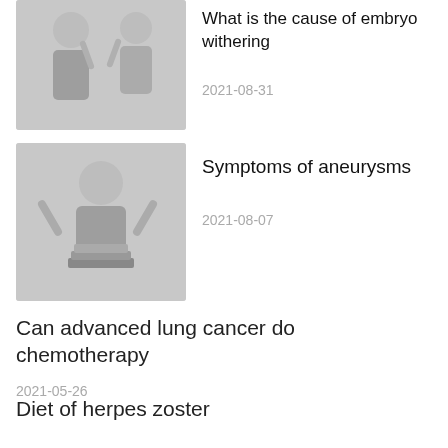What is the cause of embryo withering
2021-08-31
Symptoms of aneurysms
2021-08-07
Can advanced lung cancer do chemotherapy
2021-05-26
Diet of herpes zoster
2021-04-12
Is cerebral thrombus good to treat
2021-06-05
What reason is girl hair loss very fierce?